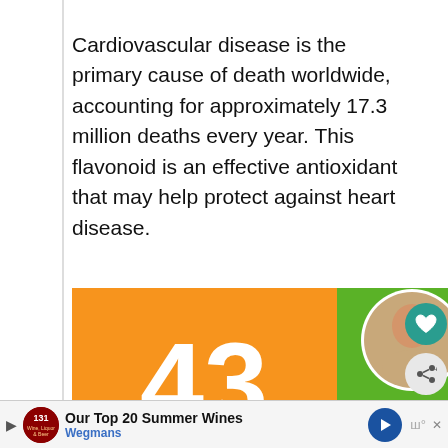Cardiovascular disease is the primary cause of death worldwide, accounting for approximately 17.3 million deaths every year. This flavonoid is an effective antioxidant that may help protect against heart disease.
[Figure (infographic): Advertisement banner with orange left section showing '43' in large white text, and green right section with three circular children's photos and text '43 CHILDREN A Day Are Diagnosed With Cancer in the U.S.']
[Figure (infographic): Bottom advertisement bar showing '131 Wine, Liquor & Beer' logo, text 'Our Top 20 Summer Wines' by Wegmans, with blue arrow navigation button]